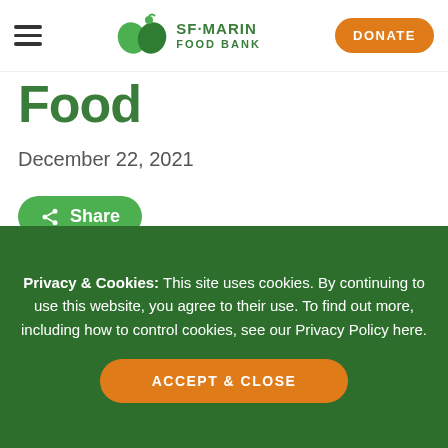[Figure (logo): SF-Marin Food Bank logo with two overlapping green hearts and a leaf, with text SF·MARIN FOOD BANK]
Food
December 22, 2021
Share
[Figure (photo): Outdoor photo showing trees and foliage with a building in the background, people partially visible]
Soup. Soap. And
Privacy & Cookies: This site uses cookies. By continuing to use this website, you agree to their use. To find out more, including how to control cookies, see our Privacy Policy here.